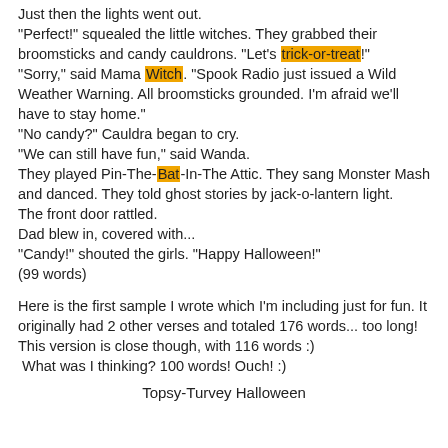Just then the lights went out. "Perfect!" squealed the little witches. They grabbed their broomsticks and candy cauldrons. "Let's trick-or-treat!" "Sorry," said Mama Witch. "Spook Radio just issued a Wild Weather Warning. All broomsticks grounded. I'm afraid we'll have to stay home." "No candy?" Cauldra began to cry. "We can still have fun," said Wanda. They played Pin-The-Bat-In-The Attic. They sang Monster Mash and danced. They told ghost stories by jack-o-lantern light. The front door rattled. Dad blew in, covered with... "Candy!" shouted the girls. "Happy Halloween!" (99 words)
Here is the first sample I wrote which I'm including just for fun. It originally had 2 other verses and totaled 176 words... too long! This version is close though, with 116 words :) What was I thinking? 100 words! Ouch! :)
Topsy-Turvey Halloween